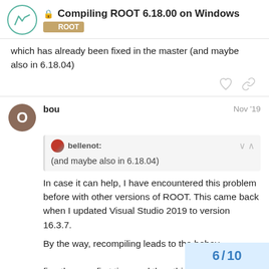Compiling ROOT 6.18.00 on Windows — ROOT
which has already been fixed in the master (and maybe also in 6.18.04)
bou — Nov '19
bellenot: (and maybe also in 6.18.04)
In case it can help, I have encountered this problem before with other versions of ROOT. This came back when I updated Visual Studio 2019 to version 16.3.7.
By the way, recompiling leads to the behav… fine the very first time and then this error a…
6 / 10